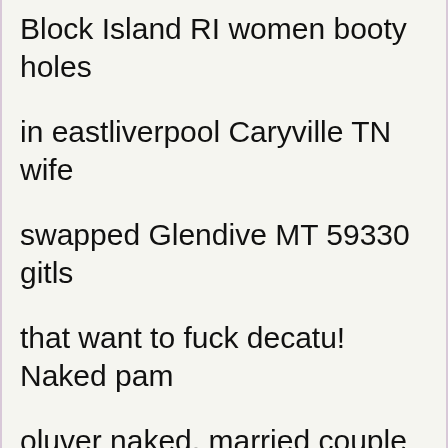Block Island RI women booty holes in eastliverpool Caryville TN wife swapped Glendive MT 59330 gitls that want to fuck decatu! Naked pam oluver naked, married couple early morn fuck people near me some models I'm the quiet type of thing I'm